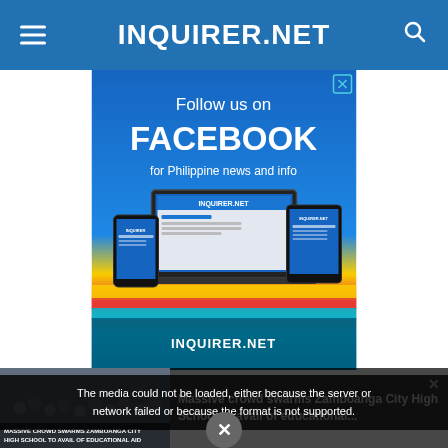INQUIRER.NET
[Figure (screenshot): Advertisement banner: Follow us on FACEBOOK for Philippine news and info, showing laptop, phone and tablet with Inquirer.net Facebook page, with rainbow stripe at bottom and INQUIRER.NET text]
[Figure (screenshot): News thumbnail: Massive crowd swarms Zamboanga City High School to avail of educational aid, with crowd image]
The media could not be loaded, either because the server or network failed or because the format is not supported.
Massive crowd swarms Zamboanga City High School to avail of educational...